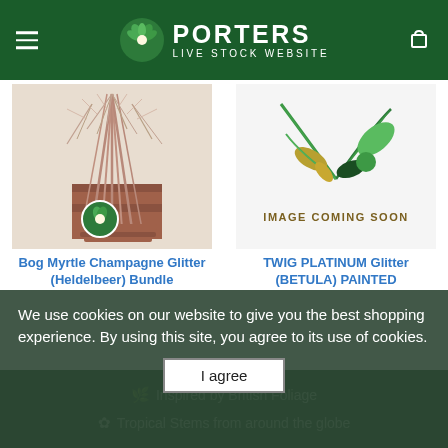PORTERS LIVE STOCK WEBSITE
[Figure (photo): Photo of Bog Myrtle Champagne Glitter (Heldelbeer) Bundle — dried brownish-pink twigs bundled together with cinnamon sticks]
Bog Myrtle Champagne Glitter (Heldelbeer) Bundle
[Figure (illustration): Placeholder image showing tropical foliage illustration with text IMAGE COMING SOON]
TWIG PLATINUM Glitter (BETULA) PAINTED
We use cookies on our website to give you the best shopping experience. By using this site, you agree to its use of cookies.
I agree
Inspired by British Foliage
Tropical Stems from around the globe